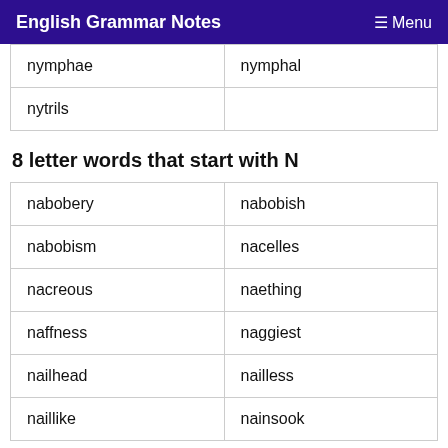English Grammar Notes  ☰ Menu
| nymphae | nymphal |
| nytrils |  |
8 letter words that start with N
| nabobery | nabobish |
| nabobism | nacelles |
| nacreous | naething |
| naffness | naggiest |
| nailhead | nailless |
| naillike | nainsook |